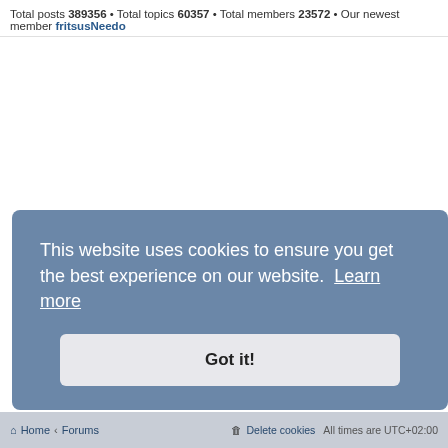Total posts 389356 • Total topics 60357 • Total members 23572 • Our newest member fritsusNeedo
This website uses cookies to ensure you get the best experience on our website. Learn more
Got it!
Home • Forums  |  Delete cookies  All times are UTC+02:00